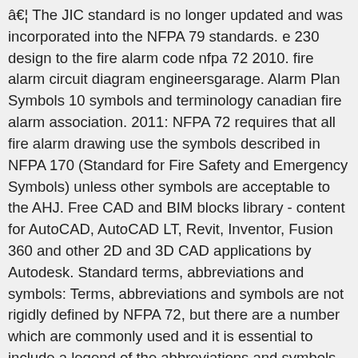â€¦ The JIC standard is no longer updated and was incorporated into the NFPA 79 standards. e 230 design to the fire alarm code nfpa 72 2010. fire alarm circuit diagram engineersgarage. Alarm Plan Symbols 10 symbols and terminology canadian fire alarm association. 2011: NFPA 72 requires that all fire alarm drawing use the symbols described in NFPA 170 (Standard for Fire Safety and Emergency Symbols) unless other symbols are acceptable to the AHJ. Free CAD and BIM blocks library - content for AutoCAD, AutoCAD LT, Revit, Inventor, Fusion 360 and other 2D and 3D CAD applications by Autodesk. Standard terms, abbreviations and symbols: Terms, abbreviations and symbols are not rigidly defined by NFPA 72, but there are a number which are commonly used and it is essential to include a legend of the abbreviations and symbols used in a design. ©Thomas Mason Page 3 of 28 The following is a legend sheet from a recent fire alarm project: This publication also summarizes recommended drawing practices for electrical construction drawings. IEC NFPA Symbols CADprofi. NFPA 170 provides standard symbols used to communicate fire